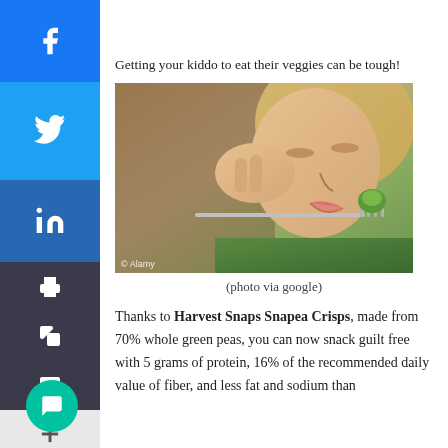[Figure (other): Partial top image cropped at page top — appears to be a food/ingredient photo with Alamy watermark]
Getting your kiddo to eat their veggies can be tough!
[Figure (photo): A young blonde girl with a disgusted expression trying to eat a green vegetable (brussels sprout) on a fork, wearing a green shirt. © Alamy watermark.]
(photo via google)
Thanks to Harvest Snaps Snapea Crisps, made from 70% whole green peas, you can now snack guilt free with 5 grams of protein, 16% of the recommended daily value of fiber, and less fat and sodium than